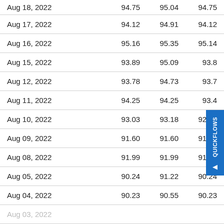| Date | Open | High | Close |
| --- | --- | --- | --- |
| Aug 18, 2022 | 94.75 | 95.04 | 94.75 |
| Aug 17, 2022 | 94.12 | 94.91 | 94.12 |
| Aug 16, 2022 | 95.16 | 95.35 | 95.14 |
| Aug 15, 2022 | 93.89 | 95.09 | 93.8x |
| Aug 12, 2022 | 93.78 | 94.73 | 93.7x |
| Aug 11, 2022 | 94.25 | 94.25 | 93.4x |
| Aug 10, 2022 | 93.03 | 93.18 | 92.94 |
| Aug 09, 2022 | 91.60 | 91.60 | 91.04 |
| Aug 08, 2022 | 91.99 | 91.99 | 91.44 |
| Aug 05, 2022 | 90.24 | 91.22 | 90.24 |
| Aug 04, 2022 | 90.23 | 90.55 | 90.23 |
| Aug 03, 2022 | ... | ... | ... |